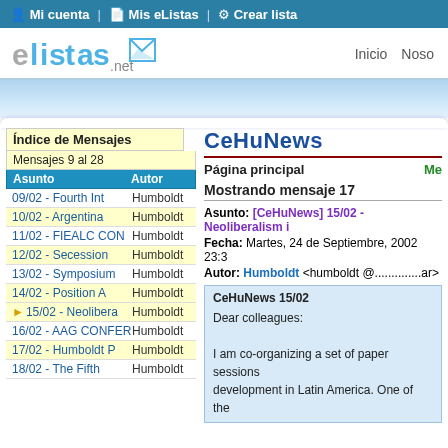Mi cuenta | Mis eListas | Crear lista
[Figure (logo): elistas.net logo with envelope icon]
Inicio   Noso
Índice de Mensajes
Mensajes 9 al 28
| Asunto | Autor |
| --- | --- |
| 09/02 - Fourth Int | Humboldt |
| 10/02 - Argentina | Humboldt |
| 11/02 - FIEALC CON | Humboldt |
| 12/02 - Secession | Humboldt |
| 13/02 - Symposium | Humboldt |
| 14/02 - Position A | Humboldt |
| ▶ 15/02 - Neolibera | Humboldt |
| 16/02 - AAG CONFER | Humboldt |
| 17/02 - Humboldt P | Humboldt |
| 18/02 - The Fifth | Humboldt |
CeHuNews
Página principal   Men
Mostrando mensaje 17
Asunto: [CeHuNews] 15/02 - Neoliberalism i
Fecha: Martes, 24 de Septiembre, 2002 23:3
Autor: Humboldt <humboldt @..............ar>
CeHuNews 15/02

Dear colleagues:

I am co-organizing a set of paper sessions development in Latin America. One of the